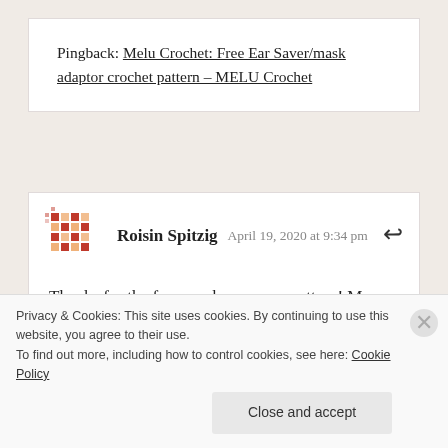Pingback: Melu Crochet: Free Ear Saver/mask adaptor crochet pattern – MELU Crochet
Roisin Spitzig  April 19, 2020 at 9:34 pm
Thanks for the face mask ear saver pattern! My daughter is a paramedic and has to wear a mask
Privacy & Cookies: This site uses cookies. By continuing to use this website, you agree to their use.
To find out more, including how to control cookies, see here: Cookie Policy
Close and accept